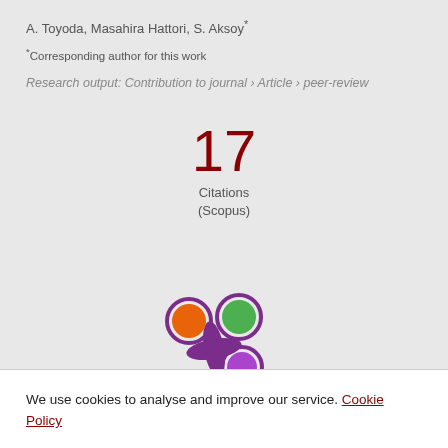A. Toyoda, Masahira Hattori, S. Aksoy*
*Corresponding author for this work
Research output: Contribution to journal › Article › peer-review
[Figure (infographic): Citation count: 17 Citations (Scopus)]
[Figure (logo): Altmetric logo — colorful flower with orange, green, and purple circles]
We use cookies to analyse and improve our service. Cookie Policy